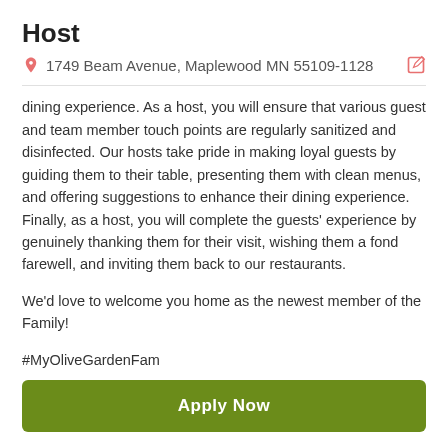Host
1749 Beam Avenue, Maplewood MN 55109-1128
dining experience. As a host, you will ensure that various guest and team member touch points are regularly sanitized and disinfected. Our hosts take pride in making loyal guests by guiding them to their table, presenting them with clean menus, and offering suggestions to enhance their dining experience. Finally, as a host, you will complete the guests' experience by genuinely thanking them for their visit, wishing them a fond farewell, and inviting them back to our restaurants.
We'd love to welcome you home as the newest member of the Family!
#MyOliveGardenFam
Apply Now